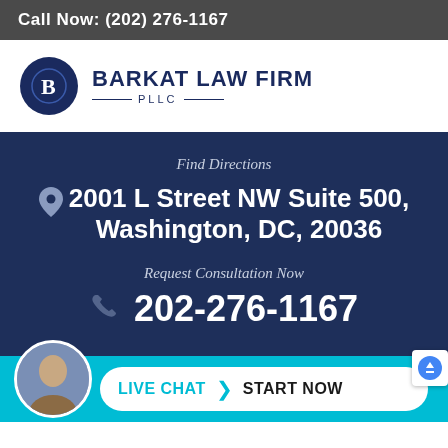Call Now: (202) 276-1167
[Figure (logo): Barkat Law Firm PLLC logo with circular dark blue emblem containing letter B and firm name text]
Find Directions
2001 L Street NW Suite 500, Washington, DC, 20036
Request Consultation Now
202-276-1167
LIVE CHAT  START NOW